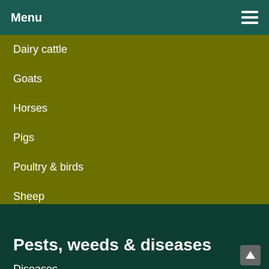Menu
Dairy cattle
Goats
Horses
Pigs
Poultry & birds
Sheep
Animal welfare
Pests, weeds & diseases
Diseases